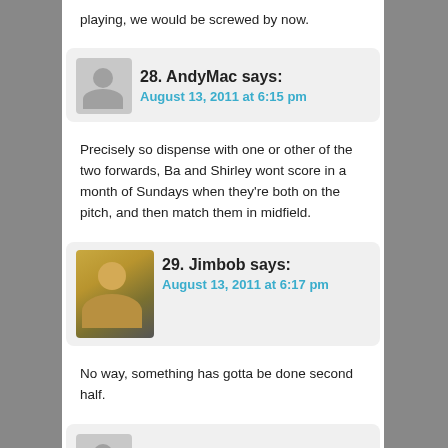playing, we would be screwed by now.
28. AndyMac says:
August 13, 2011 at 6:15 pm
Precisely so dispense with one or other of the two forwards, Ba and Shirley wont score in a month of Sundays when they're both on the pitch, and then match them in midfield.
29. Jimbob says:
August 13, 2011 at 6:17 pm
No way, something has gotta be done second half.
30. AndyMac says: